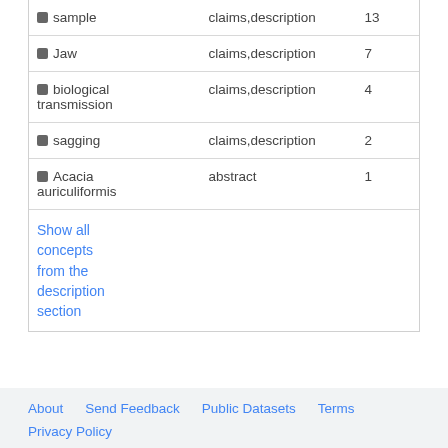| Concept | Section | Count |
| --- | --- | --- |
| sample | claims,description | 13 |
| Jaw | claims,description | 7 |
| biological transmission | claims,description | 4 |
| sagging | claims,description | 2 |
| Acacia auriculiformis | abstract | 1 |
Show all concepts from the description section
About   Send Feedback   Public Datasets   Terms   Privacy Policy